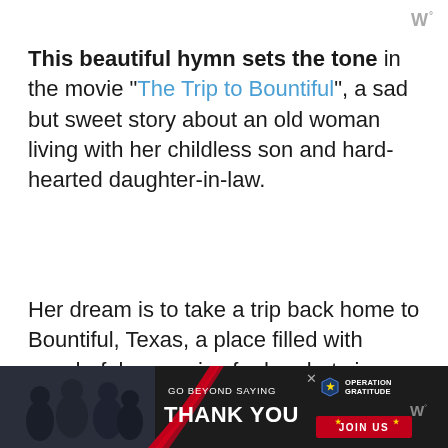W°
This beautiful hymn sets the tone in the movie "The Trip to Bountiful", a sad but sweet story about an old woman living with her childless son and hard-hearted daughter-in-law.
Her dream is to take a trip back home to Bountiful, Texas, a place filled with wonderful memories for her, but since no one will take her there, one day she sneaks out and runs away on the bus.
[Figure (infographic): Advertisement banner: GO BEYOND SAYING THANK YOU - Operation Gratitude JOIN US, with people in background and red swoosh design]
W°